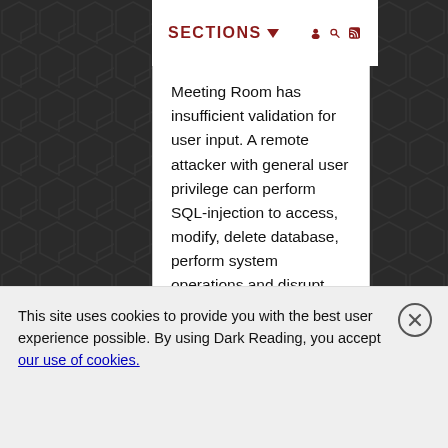SECTIONS ▼
Meeting Room has insufficient validation for user input. A remote attacker with general user privilege can perform SQL-injection to access, modify, delete database, perform system operations and disrupt service.
Discover More From Informa Tech
Interop
InformationWeek
Network Computing
ITPro Today
This site uses cookies to provide you with the best user experience possible. By using Dark Reading, you accept our use of cookies.